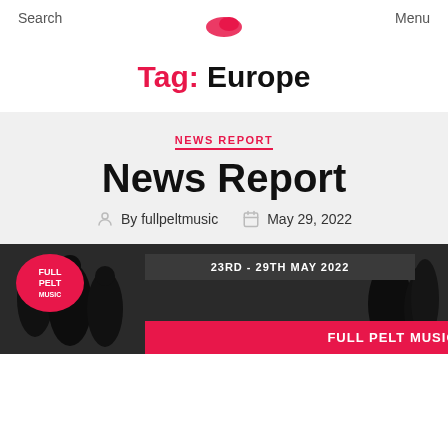Search    Menu
Tag: Europe
NEWS REPORT
News Report
By fullpeltmusic   May 29, 2022
[Figure (photo): News report image with Full Pelt Music logo, date badge '23RD - 29TH MAY 2022', and red banner reading 'FULL PELT MUSIC'S WEEKLY']